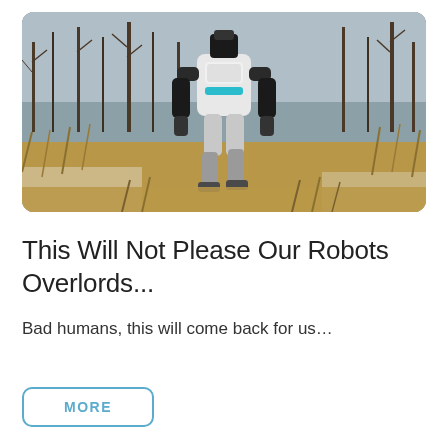[Figure (photo): A humanoid robot (Boston Dynamics Atlas) walking through a field of dry grass and brush, with bare trees in the background and snow on the ground. The robot is white and black with teal accents.]
This Will Not Please Our Robots Overlords...
Bad humans, this will come back for us…
MORE